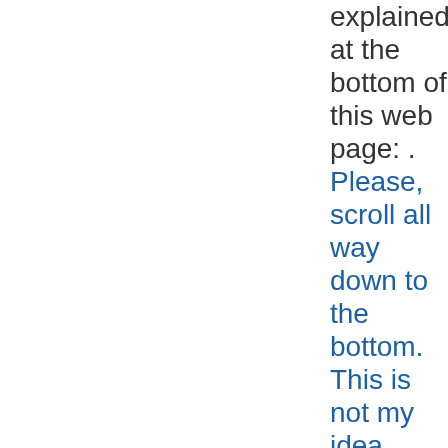explained at the bottom of this web page: . Please, scroll all way down to the bottom. This is not my idea, though. Joseph Garai came